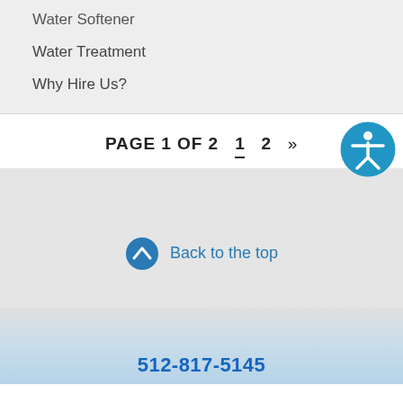Water Softener
Water Treatment
Why Hire Us?
PAGE 1 OF 2  1  2  »
[Figure (illustration): Accessibility icon: blue circle with white human figure silhouette]
Back to the top
512-817-5145